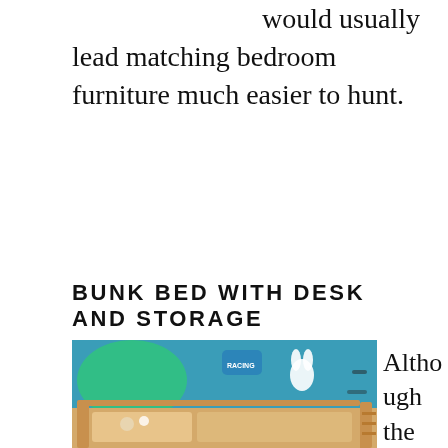would usually lead matching bedroom furniture much easier to hunt.
BUNK BED WITH DESK AND STORAGE
[Figure (photo): A wooden bunk bed with storage in a child's bedroom with a colorful blue wallpaper mural featuring cartoon racing and space motifs including a bunny, rocket, and guitar.]
Although the idea